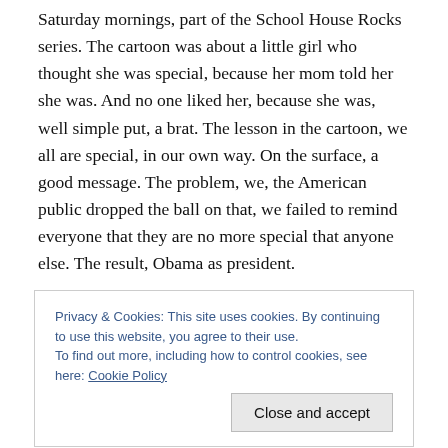Saturday mornings, part of the School House Rocks series. The cartoon was about a little girl who thought she was special, because her mom told her she was. And no one liked her, because she was, well simple put, a brat. The lesson in the cartoon, we all are special, in our own way. On the surface, a good message. The problem, we, the American public dropped the ball on that, we failed to remind everyone that they are no more special that anyone else. The result, Obama as president.
Think about this for a second or two. We have a President
Privacy & Cookies: This site uses cookies. By continuing to use this website, you agree to their use. To find out more, including how to control cookies, see here: Cookie Policy
in the oval office. An EGO like we have never seen before.